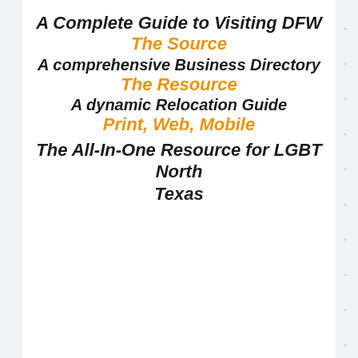A Complete Guide to Visiting DFW
The Source
A comprehensive Business Directory
The Resource
A dynamic Relocation Guide
Print, Web, Mobile
The All-In-One Resource for LGBT North Texas